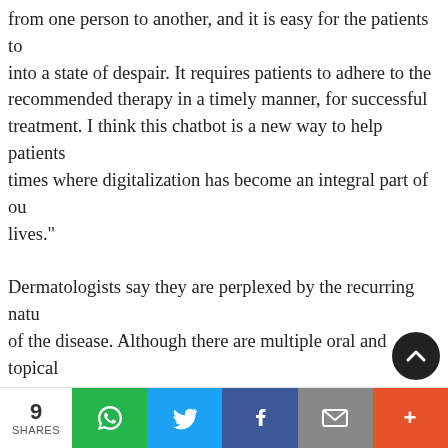from one person to another, and it is easy for the patients to into a state of despair. It requires patients to adhere to the recommended therapy in a timely manner, for successful treatment. I think this chatbot is a new way to help patients times where digitalization has become an integral part of our lives."

Dermatologists say they are perplexed by the recurring natu of the disease. Although there are multiple oral and topical treatment options available, dermatologists are stressing the importance of patients' adherence to treatment and avoidam of steroid abuse are essential to successful treatment of the disease. However, despite these warnings, patients more ofte discontinue the therapy upon relief from itching.
9 SHARES | WhatsApp | Twitter | Facebook | Email | +